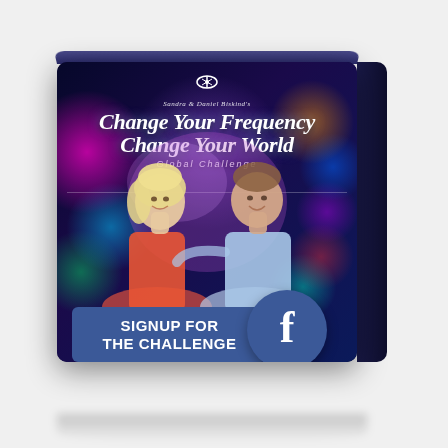[Figure (illustration): 3D box product mockup for 'Change Your Frequency Change Your World Global Challenge' by Sandra & Daniel Biskind. Box has dark blue/purple background with colorful bokeh dots. Features photo of a smiling blonde woman in orange top and smiling man in blue shirt. Overlaid signup button reads 'SIGNUP FOR THE CHALLENGE' in white text on dark blue background, with Facebook circle logo on the right.]